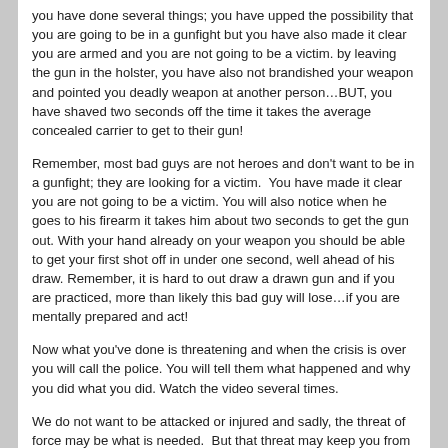you have done several things; you have upped the possibility that you are going to be in a gunfight but you have also made it clear you are armed and you are not going to be a victim. by leaving the gun in the holster, you have also not brandished your weapon and pointed you deadly weapon at another person…BUT, you have shaved two seconds off the time it takes the average concealed carrier to get to their gun!
Remember, most bad guys are not heroes and don't want to be in a gunfight; they are looking for a victim.  You have made it clear you are not going to be a victim. You will also notice when he goes to his firearm it takes him about two seconds to get the gun out. With your hand already on your weapon you should be able to get your first shot off in under one second, well ahead of his draw. Remember, it is hard to out draw a drawn gun and if you are practiced, more than likely this bad guy will lose…if you are mentally prepared and act!
Now what you've done is threatening and when the crisis is over you will call the police. You will tell them what happened and why you did what you did. Watch the video several times.
We do not want to be attacked or injured and sadly, the threat of force may be what is needed.  But that threat may keep you from shooting someone or more importantly, being shot!  If needed, act